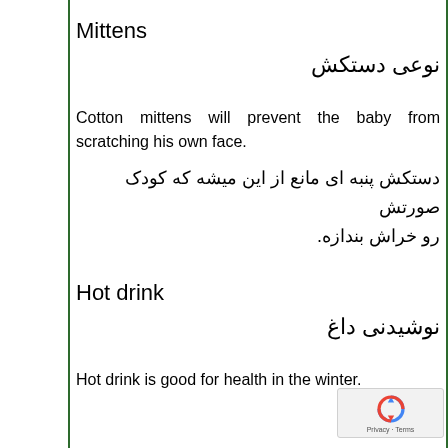Mittens
نوعی دستکش
Cotton mittens will prevent the baby from scratching his own face.
دستکش پنبه ای مانع از این میشه که کودک صورتش رو خراش بندازه.
Hot drink
نوشیدنی داغ
Hot drink is good for health in the winter.